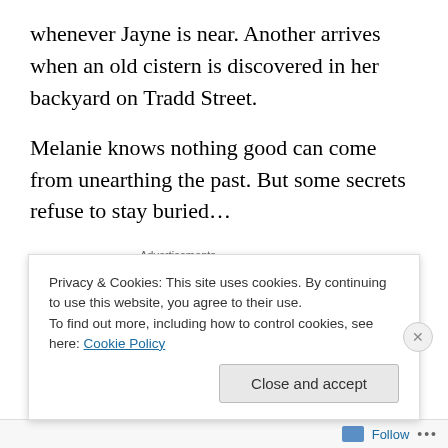whenever Jayne is near. Another arrives when an old cistern is discovered in her backyard on Tradd Street.
Melanie knows nothing good can come from unearthing the past. But some secrets refuse to stay buried…
[Figure (other): Green advertisement banner with white circle logo and white button on right side]
Review
Melanie is about to go back to work after having twins. Her
Privacy & Cookies: This site uses cookies. By continuing to use this website, you agree to their use.
To find out more, including how to control cookies, see here: Cookie Policy
Close and accept